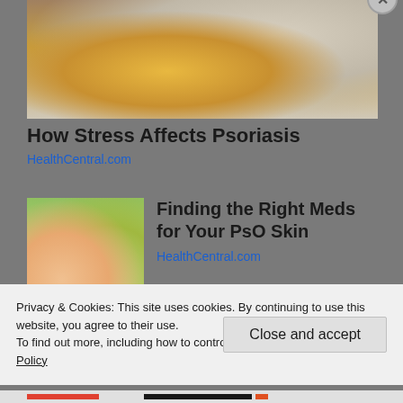[Figure (photo): Person in yellow/mustard knit sweater scratching or touching their wrist/hand, sitting near grey pillows on a sofa. Close-up view showing stress-related psoriasis context.]
How Stress Affects Psoriasis
HealthCentral.com
[Figure (photo): Close-up of a person's open palm/hand receiving a small pill or medication from another hand, with a light green background.]
Finding the Right Meds for Your PsO Skin
HealthCentral.com
Privacy & Cookies: This site uses cookies. By continuing to use this website, you agree to their use.
To find out more, including how to control cookies, see here: Cookie Policy
Close and accept